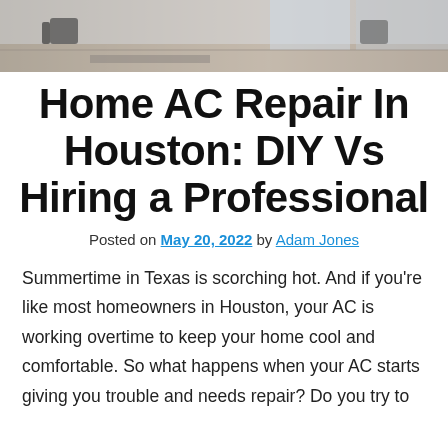[Figure (photo): Interior room photo showing a modern living space with wooden floor, chairs, and glass door/window]
Home AC Repair In Houston: DIY Vs Hiring a Professional
Posted on May 20, 2022 by Adam Jones
Summertime in Texas is scorching hot. And if you're like most homeowners in Houston, your AC is working overtime to keep your home cool and comfortable. So what happens when your AC starts giving you trouble and needs repair? Do you try to